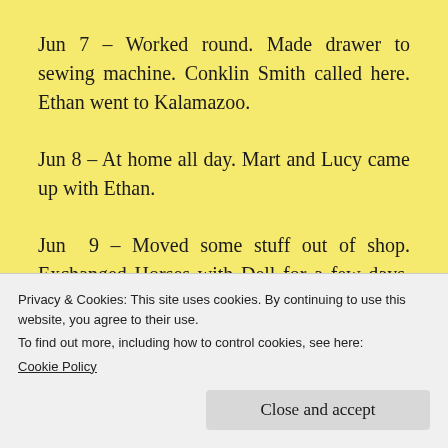Jun 7 – Worked round. Made drawer to sewing machine. Conklin Smith called here. Ethan went to Kalamazoo.
Jun 8 – At home all day. Mart and Lucy came up with Ethan.
Jun 9 – Moved some stuff out of shop. Exchanged Horses with Dell for a few days. Henry came down and stayed all night. Rained
Baptist Minister.
Privacy & Cookies: This site uses cookies. By continuing to use this website, you agree to their use.
To find out more, including how to control cookies, see here:
Cookie Policy
Close and accept